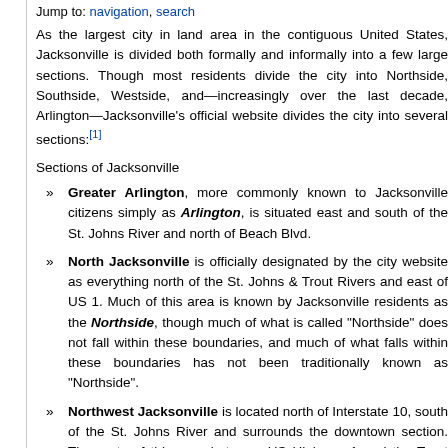Jump to: navigation, search
As the largest city in land area in the contiguous United States, Jacksonville is divided both formally and informally into a few large sections. Though most residents divide the city into Northside, Southside, Westside, and—increasingly over the last decade, Arlington—Jacksonville's official website divides the city into several sections:[1]
Sections of Jacksonville
Greater Arlington, more commonly known to Jacksonville citizens simply as Arlington, is situated east and south of the St. Johns River and north of Beach Blvd.
North Jacksonville is officially designated by the city website as everything north of the St. Johns & Trout Rivers and east of US 1. Much of this area is known by Jacksonville residents as the Northside, though much of what is called "Northside" does not fall within these boundaries, and much of what falls within these boundaries has not been traditionally known as "Northside".
Northwest Jacksonville is located north of Interstate 10, south of the St. Johns River and surrounds the downtown section. The parts of this area between US Highway 1 and the Trout and St. John's River is usually considered part of either the "Northside" or, alternately, Downtown. Much of this section is actually rural land, not easily classified as part of any section.
Southeast Jacksonville, almost universally known as Southside, encompasses everything east of the St. Johns River and south of Beach Blvd.
Southwest Jacksonville makes up most of what is known in Jacksonville as the...